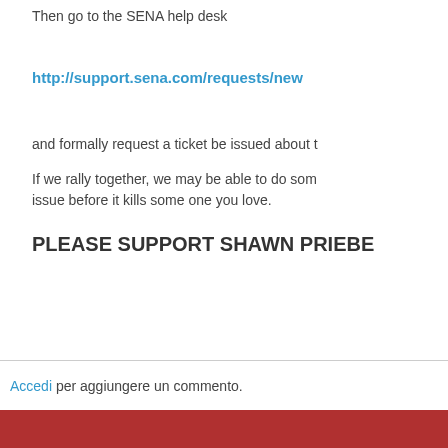Then go to the SENA help desk
http://support.sena.com/requests/new
and formally request a ticket be issued about t
If we rally together, we may be able to do som issue before it kills some one you love.
PLEASE SUPPORT SHAWN PRIEBE
Accedi per aggiungere un commento.